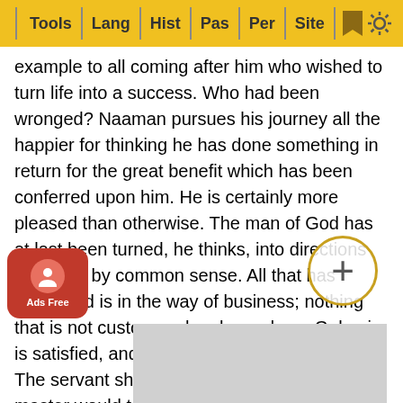Tools | Lang | Hist | Pas | Per | Site
example to all coming after him who wished to turn life into a success. Who had been wronged? Naaman pursues his journey all the happier for thinking he has done something in return for the great benefit which has been conferred upon him. He is certainly more pleased than otherwise. The man of God has at last been turned, he thinks, into directions indicated by common sense. All that has happened is in the way of business; nothing that is not customary has been done. Gehazi is satisfied, and Elisha knows nothing about it. The servant should have something even if the master would take nothing. It is the trick of our own day! The servant is always at the door with his rheumatic hand ready to take anything that may be put into it. We leave nothing with the master; it would be an insult to him. So far the case looks natural, simple, and complete; and we have said Elisha knows nothing about it. Look at Elisha: fixing his eyes calmly upon Gehazi...! The good...hrist